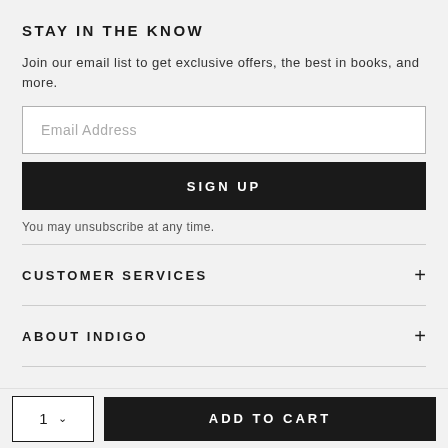STAY IN THE KNOW
Join our email list to get exclusive offers, the best in books, and more.
[Figure (other): Email address input field (empty, placeholder text: Email Address)]
[Figure (other): SIGN UP button — black background, white uppercase text]
You may unsubscribe at any time.
CUSTOMER SERVICES
ABOUT INDIGO
[Figure (other): Social media icons row: Twitter, Facebook, Instagram, YouTube, Pinterest]
[Figure (other): Quantity selector showing 1 with dropdown arrow, and ADD TO CART button]